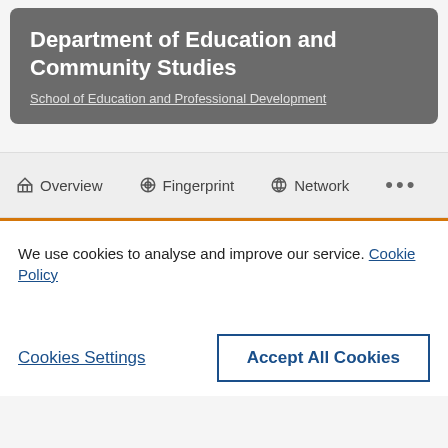Department of Education and Community Studies
School of Education and Professional Development
Overview   Fingerprint   Network   ...
We use cookies to analyse and improve our service. Cookie Policy
Cookies Settings
Accept All Cookies